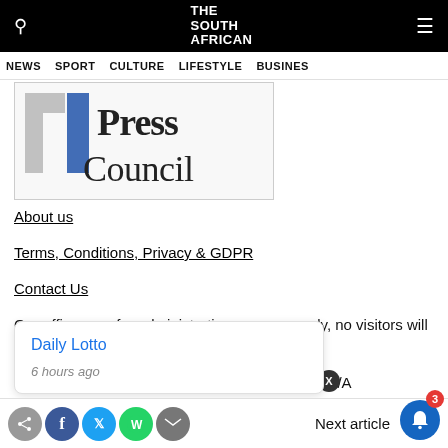THE SOUTH AFRICAN — Navigation: NEWS SPORT CULTURE LIFESTYLE BUSINESS
[Figure (logo): Press Council logo — partial view showing stylized 'L' mark in grey and blue, and the word 'Press Council' in serif text]
About us
Terms, Conditions, Privacy & GDPR
Contact Us
Our offices are for administrative purposes only, no visitors will be accepted without an appointment.
South Africa – Blue Sky Publications (Pty) Ltd T/A
Daily Lotto — 6 hours ago (notification popup)
Next article — share icons